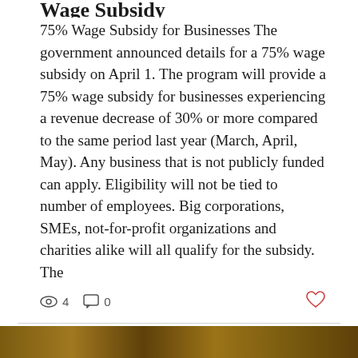Wage Subsidy
75% Wage Subsidy for Businesses The government announced details for a 75% wage subsidy on April 1. The program will provide a 75% wage subsidy for businesses experiencing a revenue decrease of 30% or more compared to the same period last year (March, April, May). Any business that is not publicly funded can apply. Eligibility will not be tied to number of employees. Big corporations, SMEs, not-for-profit organizations and charities alike will all qualify for the subsidy. The
4 views  0 comments  like
[Figure (photo): Partial bottom image strip showing brown/earthy tones, likely a news thumbnail]